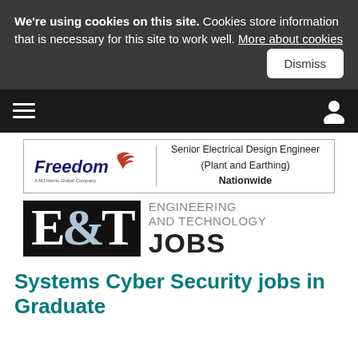We're using cookies on this site. Cookies store information that is necessary for this site to work well. More about cookies
[Figure (screenshot): Navigation bar with hamburger menu icon on left and user account icon on right, dark background]
[Figure (logo): Freedom company logo with text: Senior Electrical Design Engineer (Plant and Earthing) Nationwide]
[Figure (logo): E&T Engineering and Technology JOBS logo]
Systems Cyber Security jobs in Graduate